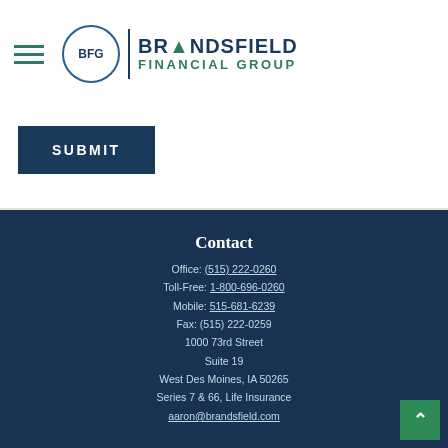Brandsfield Financial Group
SUBMIT
Contact
Office: (515) 222-0260
Toll-Free: 1-800-696-0260
Mobile: 515-681-6239
Fax: (515) 222-0259
1000 73rd Street
Suite 19
West Des Moines, IA 50265
Series 7 & 66, Life Insurance
aaron@brandsfield.com